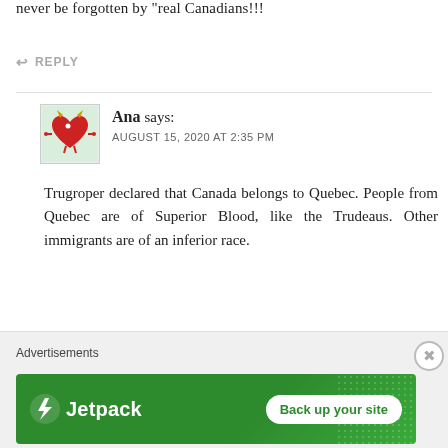never be forgotten by “real Canadians!!!
↩ REPLY
[Figure (illustration): Avatar of user Ana: cartoon red heart with devil horns holding small weights, on light green background]
Ana says:
AUGUST 15, 2020 AT 2:35 PM
Trugroper declared that Canada belongs to Quebec. People from Quebec are of Superior Blood, like the Trudeaus. Other immigrants are of an inferior race.
↩ REPLY
Advertisements
[Figure (logo): Jetpack advertisement banner with green background, Jetpack logo (lightning bolt icon) and text, with white rounded button 'Back up your site']